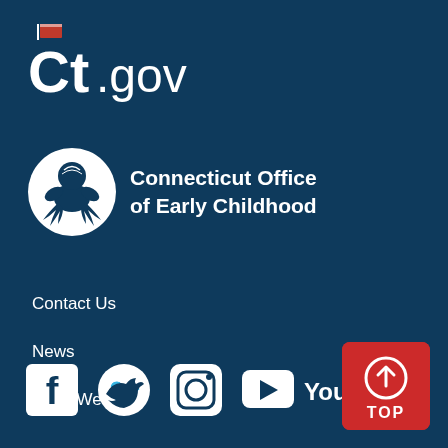[Figure (logo): CT.gov logo with Connecticut flag icon above the CT letters]
[Figure (logo): Connecticut Office of Early Childhood logo with circular hand/child graphic and text]
Contact Us
News
What We Do
[Figure (infographic): Social media icons row: Facebook, Twitter, Instagram, YouTube]
[Figure (other): Red TOP button with upward arrow icon]